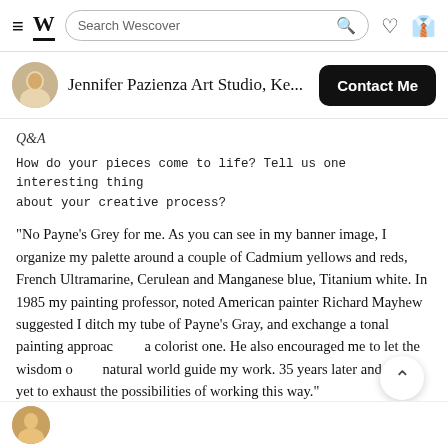Wescover — Search Wescover (navigation bar with hamburger, logo, search, heart, bag icons)
Jennifer Pazienza Art Studio, Ke...
Q&A
How do your pieces come to life? Tell us one interesting thing about your creative process?
"No Payne's Grey for me. As you can see in my banner image, I organize my palette around a couple of Cadmium yellows and reds, French Ultramarine, Cerulean and Manganese blue, Titanium white. In 1985 my painting professor, noted American painter Richard Mayhew suggested I ditch my tube of Payne's Gray, and exchange a tonal painting approach a colorist one. He also encouraged me to let the wisdom of the natural world guide my work. 35 years later and I have yet to exhaust the possibilities of working this way."